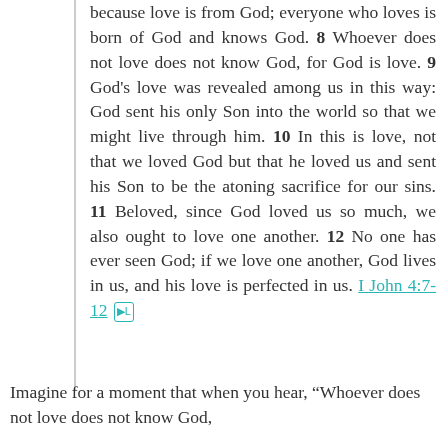because love is from God; everyone who loves is born of God and knows God. 8 Whoever does not love does not know God, for God is love. 9 God's love was revealed among us in this way: God sent his only Son into the world so that we might live through him. 10 In this is love, not that we loved God but that he loved us and sent his Son to be the atoning sacrifice for our sins. 11 Beloved, since God loved us so much, we also ought to love one another. 12 No one has ever seen God; if we love one another, God lives in us, and his love is perfected in us. I John 4:7-12
Imagine for a moment that when you hear, “Whoever does not love does not know God,